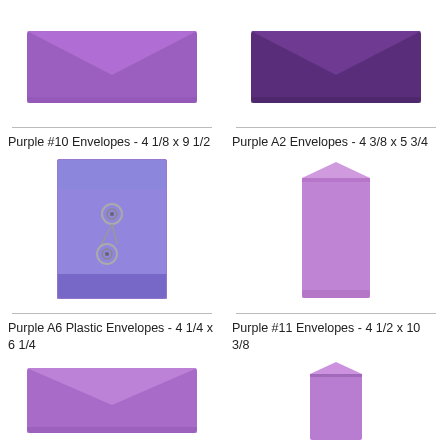[Figure (illustration): Purple #10 envelope - medium purple, landscape orientation, top-left]
[Figure (illustration): Dark purple envelope - dark plum, landscape orientation, top-right]
Purple #10 Envelopes - 4 1/8 x 9 1/2
Purple A2 Envelopes - 4 3/8 x 5 3/4
[Figure (illustration): Purple A6 plastic envelope with string/button closure, portrait orientation, middle-left]
[Figure (illustration): Light purple pocket/coin envelope, portrait orientation, middle-right]
Purple A6 Plastic Envelopes - 4 1/4 x 6 1/4
Purple #11 Envelopes - 4 1/2 x 10 3/8
[Figure (illustration): Purple envelope, landscape orientation, bottom-left]
[Figure (illustration): Light purple pocket/coin envelope, portrait orientation, bottom-right]